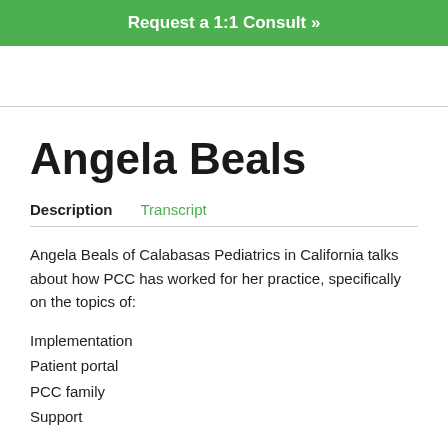Request a 1:1 Consult »
Angela Beals
Description	Transcript
Angela Beals of Calabasas Pediatrics in California talks about how PCC has worked for her practice, specifically on the topics of:
Implementation
Patient portal
PCC family
Support